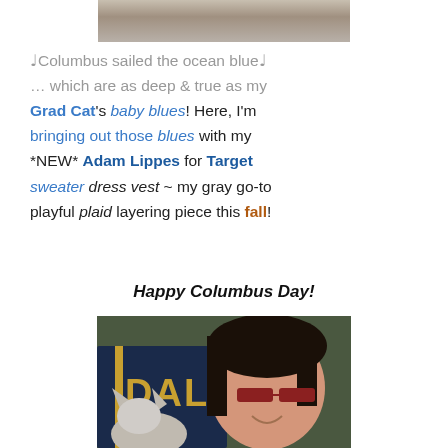[Figure (photo): Partial photo at top of page showing a tiled floor interior scene]
♩Columbus sailed the ocean blue♩ … which are as deep & true as my Grad Cat's baby blues! Here, I'm bringing out those blues with my *NEW* Adam Lippes for Target sweater dress vest ~ my gray go-to playful plaid layering piece this fall!
Happy Columbus Day!
[Figure (photo): Selfie photo of a woman with dark hair and red glasses smiling next to a gray cat, with a Dallas graduation robe visible in the background]